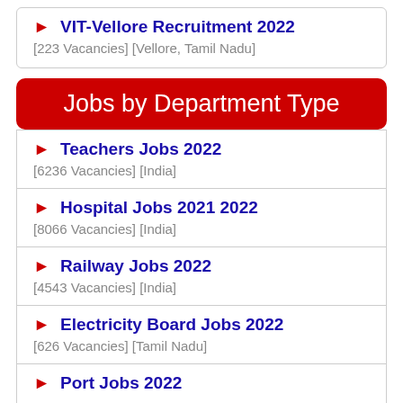► VIT-Vellore Recruitment 2022
[223 Vacancies] [Vellore, Tamil Nadu]
Jobs by Department Type
► Teachers Jobs 2022
[6236 Vacancies] [India]
► Hospital Jobs 2021 2022
[8066 Vacancies] [India]
► Railway Jobs 2022
[4543 Vacancies] [India]
► Electricity Board Jobs 2022
[626 Vacancies] [Tamil Nadu]
► Port Jobs 2022